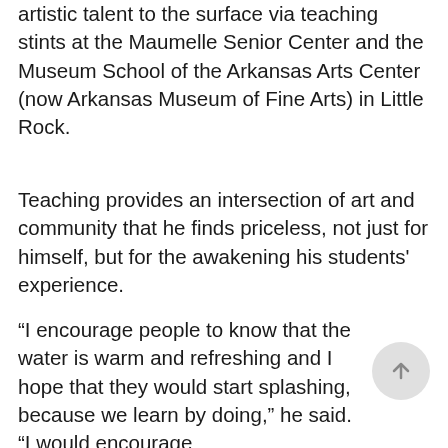artistic talent to the surface via teaching stints at the Maumelle Senior Center and the Museum School of the Arkansas Arts Center (now Arkansas Museum of Fine Arts) in Little Rock.
Teaching provides an intersection of art and community that he finds priceless, not just for himself, but for the awakening his students' experience.
“I encourage people to know that the water is warm and refreshing and I hope that they would start splashing, because we learn by doing,” he said. “I would encourage